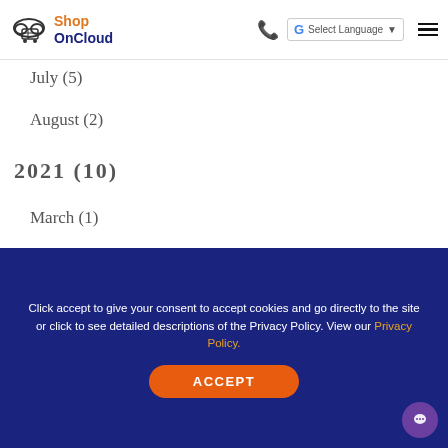ShopOnCloud — Select Language navigation header
July (5)
August (2)
2021 (10)
March (1)
April (1)
Click accept to give your consent to accept cookies and go directly to the site or click to see detailed descriptions of the Privacy Policy. View our Privacy Policy.
ACCEPT